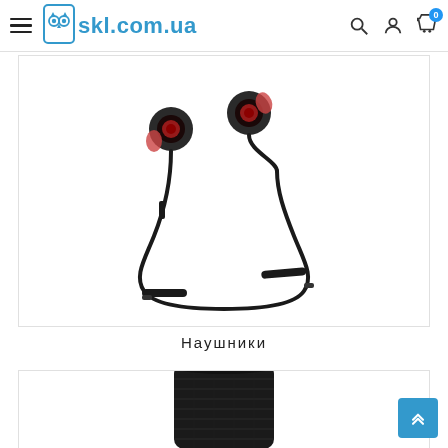skl.com.ua — navigation header with logo, search, account, and cart icons
[Figure (photo): Bluetooth neckband earphones / earbuds with magnetic tips and inline remote, black color, on white background]
Наушники
[Figure (photo): Cylindrical black fabric Bluetooth speaker, partially visible at bottom of page]